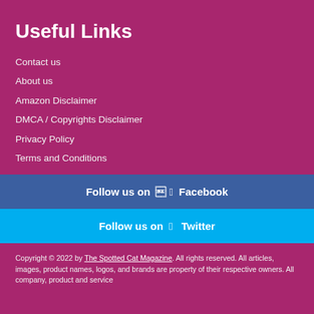Useful Links
Contact us
About us
Amazon Disclaimer
DMCA / Copyrights Disclaimer
Privacy Policy
Terms and Conditions
Follow us on 🅵 Facebook
Follow us on 🐦 Twitter
Copyright © 2022 by The Spotted Cat Magazine. All rights reserved. All articles, images, product names, logos, and brands are property of their respective owners. All company, product and service